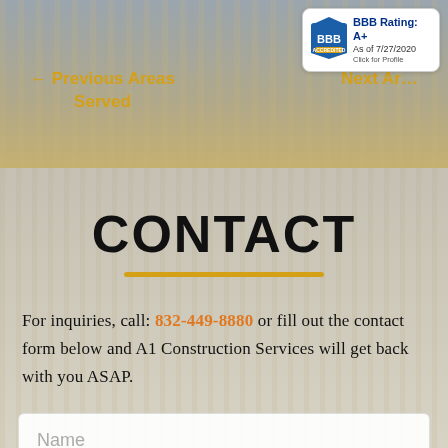[Figure (screenshot): Top navigation banner with background photo of construction/buildings, showing navigation links and BBB badge]
← Previous Areas Served
Next Ar…
[Figure (logo): BBB Accredited Business logo with Rating A+ as of 7/27/2020, Click for Profile]
CONTACT
For inquiries, call: 832-449-8880 or fill out the contact form below and A1 Construction Services will get back with you ASAP.
Name